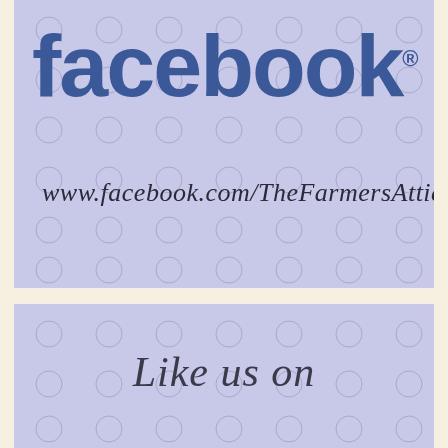[Figure (logo): Facebook logo with blue bold lowercase 'facebook.' text with registered trademark symbol on a purple/lavender patterned background with circle watermarks]
www.facebook.com/TheFarmersAttic
Like us on